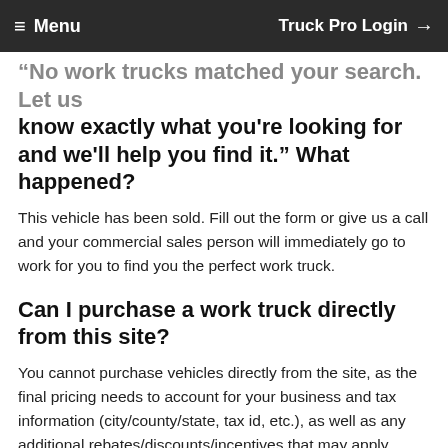≡ Menu   Truck Pro Login →
"No work trucks matched your search. Let us know exactly what you're looking for and we'll help you find it." What happened?
This vehicle has been sold. Fill out the form or give us a call and your commercial sales person will immediately go to work for you to find you the perfect work truck.
Can I purchase a work truck directly from this site?
You cannot purchase vehicles directly from the site, as the final pricing needs to account for your business and tax information (city/county/state, tax id, etc.), as well as any additional rebates/discounts/incentives that may apply. Please be sure to contact us for any purchase-related inquiries by calling the number at the top of the page, filling out the "I'm Interested" form, or stopping by. Be sure